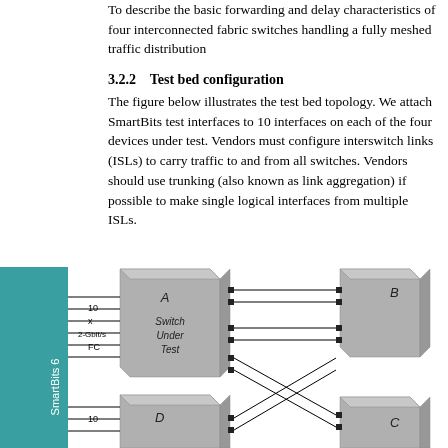To describe the basic forwarding and delay characteristics of four interconnected fabric switches handling a fully meshed traffic distribution
3.2.2    Test bed configuration
The figure below illustrates the test bed topology. We attach SmartBits test interfaces to 10 interfaces on each of the four devices under test. Vendors must configure interswitch links (ISLs) to carry traffic to and from all switches. Vendors should use trunking (also known as link aggregation) if possible to make single logical interfaces from multiple ISLs.
[Figure (network-graph): Network diagram showing SmartBits 6 test equipment (teal/green box on left) connected to four switches A, B, C, D arranged in a mesh topology. Switch A and D are on the left side, B and C on the right. Labels show 10 interfaces, x 2-Gbit/s FC connections. Switches labeled 'Switch Under Test'. Interconnections shown between all switches with black squares indicating connection points.]